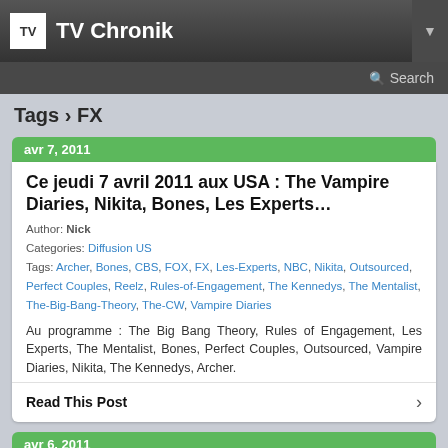TV Chronik
Tags › FX
avr 7, 2011
Ce jeudi 7 avril 2011 aux USA : The Vampire Diaries, Nikita, Bones, Les Experts…
Author: Nick
Categories: Diffusion US
Tags: Archer, Bones, CBS, FOX, FX, Les-Experts, NBC, Nikita, Outsourced, Perfect Couples, Reelz, Rules-of-Engagement, The Kennedys, The Mentalist, The-Big-Bang-Theory, The-CW, Vampire Diaries
Au programme : The Big Bang Theory, Rules of Engagement, Les Experts, The Mentalist, Bones, Perfect Couples, Outsourced, Vampire Diaries, Nikita, The Kennedys, Archer.
Read This Post
avr 6, 2011
Ce mercredi 6 avril 2011 aux USA : Breaking In, Off The Map, Workaholics, Esprits Criminels…
Author: Nick
Categories: Diffusion US